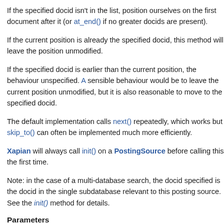If the specified docid isn't in the list, position ourselves on the first document after it (or at_end() if no greater docids are present).
If the current position is already the specified docid, this method will leave the position unmodified.
If the specified docid is earlier than the current position, the behaviour is unspecified. A sensible behaviour would be to leave the current position unmodified, but it is also reasonable to move to the specified docid.
The default implementation calls next() repeatedly, which works but skip_to() can often be implemented much more efficiently.
Xapian will always call init() on a PostingSource before calling this the first time.
Note: in the case of a multi-database search, the docid specified is the docid in the single subdatabase relevant to this posting source. See the init() method for details.
Parameters
did   The document id to advance to.